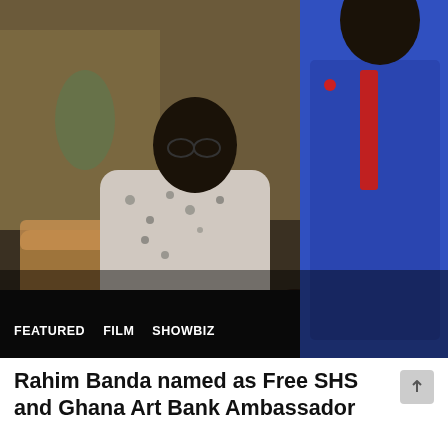[Figure (photo): An elderly man in a floral/patterned shirt seated in a chair shakes hands with a man in a blue suit and red tie, indoors with furnishings visible in the background.]
FEATURED   FILM   SHOWBIZ
Rahim Banda named as Free SHS and Ghana Art Bank Ambassador